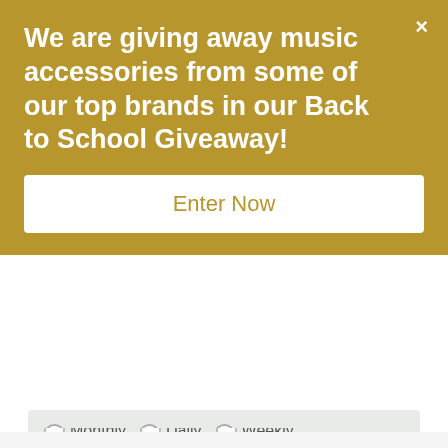We are giving away music accessories from some of our top brands in our Back to School Giveaway!
Enter Now
Monthly   Daily   Weekly
SUBSCRIBE NOW
Categories
LATEST ARTICLES
LATEST VIDEOS
ARTISTS PROFILES
INSPIRATION